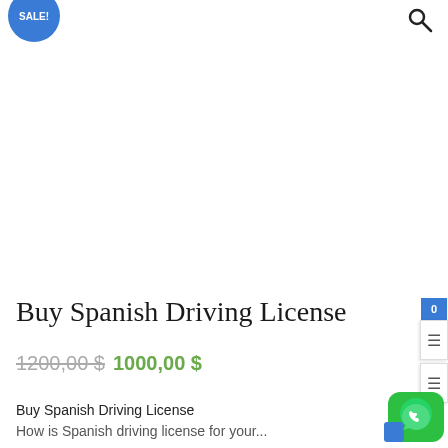[Figure (logo): Blue circular SALE! badge in top left corner]
[Figure (other): Search magnifying glass icon in top right corner]
Buy Spanish Driving License
1200,00 $ 1000,00 $
Buy Spanish Driving License
[Figure (other): WhatsApp green icon button in bottom right corner]